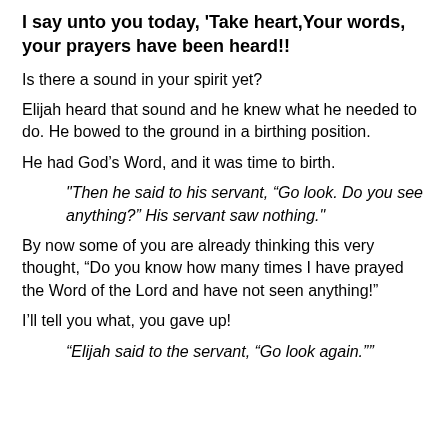I say unto you today, 'Take heart,Your words, your prayers have been heard!!
Is there a sound in your spirit yet?
Elijah heard that sound and he knew what he needed to do. He bowed to the ground in a birthing position.
He had God’s Word, and it was time to birth.
"Then he said to his servant, “Go look. Do you see anything?” His servant saw nothing."
By now some of you are already thinking this very thought, “Do you know how many times I have prayed the Word of the Lord and have not seen anything!”
I’ll tell you what, you gave up!
“Elijah said to the servant, “Go look again.””